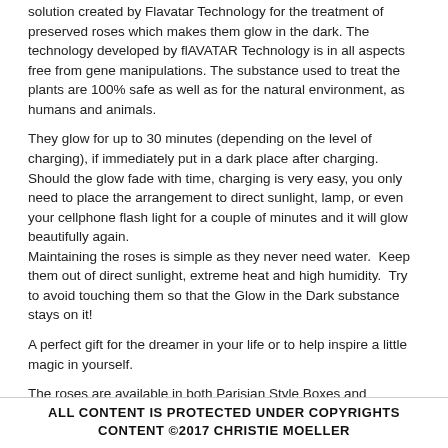solution created by Flavatar Technology for the treatment of preserved roses which makes them glow in the dark. The technology developed by flAVATAR Technology is in all aspects free from gene manipulations. The substance used to treat the plants are 100% safe as well as for the natural environment, as humans and animals.
They glow for up to 30 minutes (depending on the level of charging), if immediately put in a dark place after charging. Should the glow fade with time, charging is very easy, you only need to place the arrangement to direct sunlight, lamp, or even your cellphone flash light for a couple of minutes and it will glow beautifully again. Maintaining the roses is simple as they never need water. Keep them out of direct sunlight, extreme heat and high humidity. Try to avoid touching them so that the Glow in the Dark substance stays on it!
A perfect gift for the dreamer in your life or to help inspire a little magic in yourself.
The roses are available in both Parisian Style Boxes and European Glass
ALL CONTENT IS PROTECTED UNDER COPYRIGHTS CONTENT ©2017 CHRISTIE MOELLER